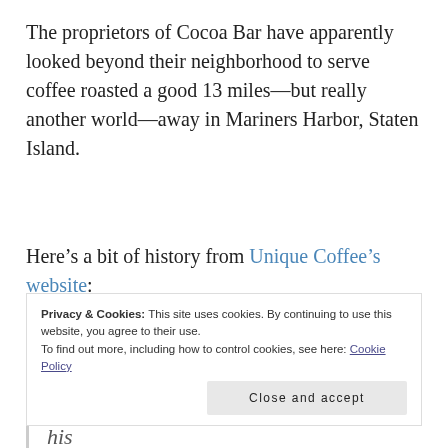The proprietors of Cocoa Bar have apparently looked beyond their neighborhood to serve coffee roasted a good 13 miles—but really another world—away in Mariners Harbor, Staten Island.
Here's a bit of history from Unique Coffee's website:
In September of 1995 [James] Ferrara incorporated Unique Coffee Inc. Starting in the garage of his home with the help of his
Privacy & Cookies: This site uses cookies. By continuing to use this website, you agree to their use.
To find out more, including how to control cookies, see here: Cookie Policy